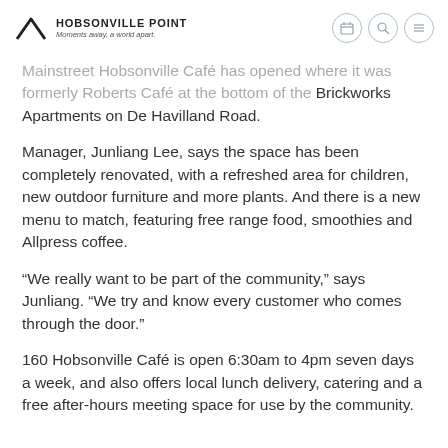Hobsonville Point — Moments away, a world apart.
Mainstreet Hobsonville Café has opened where it was formerly Roberts Café at the bottom of the Brickworks Apartments on De Havilland Road.
Manager, Junliang Lee, says the space has been completely renovated, with a refreshed area for children, new outdoor furniture and more plants. And there is a new menu to match, featuring free range food, smoothies and Allpress coffee.
“We really want to be part of the community,” says Junliang. “We try and know every customer who comes through the door.”
160 Hobsonville Café is open 6:30am to 4pm seven days a week, and also offers local lunch delivery, catering and a free after-hours meeting space for use by the community.